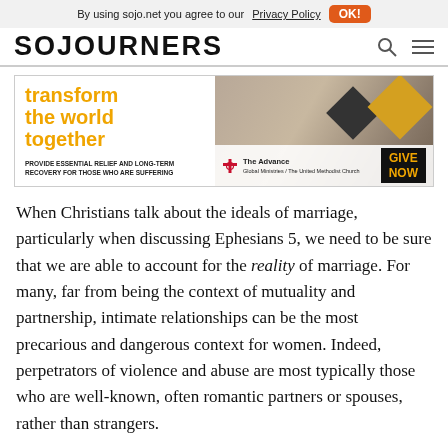By using sojo.net you agree to our Privacy Policy  OK!
SOJOURNERS
[Figure (infographic): Advertisement banner: 'transform the world together' in orange bold text on left, geometric diamond shapes and background imagery on right, with United Methodist Church 'The Advance' logo and a 'GIVE NOW' button. Subtext: 'PROVIDE ESSENTIAL RELIEF AND LONG-TERM RECOVERY FOR THOSE WHO ARE SUFFERING']
When Christians talk about the ideals of marriage, particularly when discussing Ephesians 5, we need to be sure that we are able to account for the reality of marriage. For many, far from being the context of mutuality and partnership, intimate relationships can be the most precarious and dangerous context for women. Indeed, perpetrators of violence and abuse are most typically those who are well-known, often romantic partners or spouses, rather than strangers.
Thankfully, increased awareness has led to a shift in the way